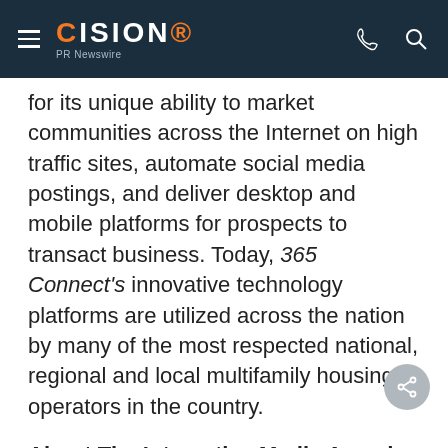CISION PR Newswire
for its unique ability to market communities across the Internet on high traffic sites, automate social media postings, and deliver desktop and mobile platforms for prospects to transact business. Today, 365 Connect's innovative technology platforms are utilized across the nation by many of the most respected national, regional and local multifamily housing operators in the country.
About The Interactive Media Awards: The Interactive Media Awards recognize the highest standards of excellence in website design and development, and honor individuals and organizations for their outstanding achievement